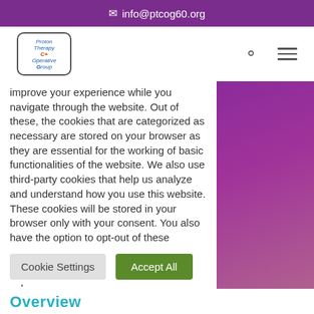✉ info@ptcog60.org
[Figure (logo): PTCOG logo — a small box with italic blue and red text lines reading: Proton, Therapy, C+, Operative, Group]
improve your experience while you navigate through the website. Out of these, the cookies that are categorized as necessary are stored on your browser as they are essential for the working of basic functionalities of the website. We also use third-party cookies that help us analyze and understand how you use this website. These cookies will be stored in your browser only with your consent. You also have the option to opt-out of these cookies. But opting out of some of these cookies may affect your browsing experience..
Cookie Settings   Accept All
Overview